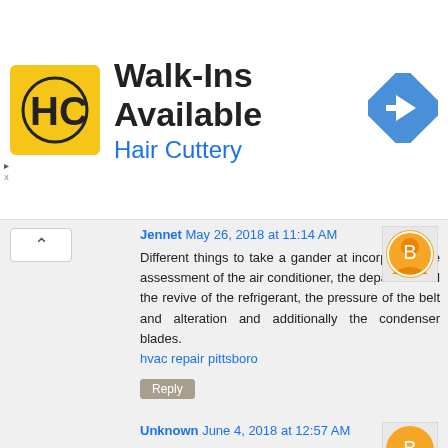[Figure (logo): Hair Cuttery advertisement banner with HC logo, 'Walk-Ins Available' title, 'Hair Cuttery' subtitle, and blue diamond direction arrow icon]
Jennet May 26, 2018 at 11:14 AM
Different things to take a gander at incorporate the assessment of the air conditioner, the departure and the revive of the refrigerant, the pressure of the belt and alteration and additionally the condenser blades.
hvac repair pittsboro
Reply
Unknown June 4, 2018 at 12:57 AM
You are saying that 15 X 12 rooms = 4500 BTU but are sugesting A/c of 1 ton. which delivers 12000 BTU
Reply
Unknown June 6, 2018 at 9:25 AM
For my 16*10*12 room suggest tonnage plz